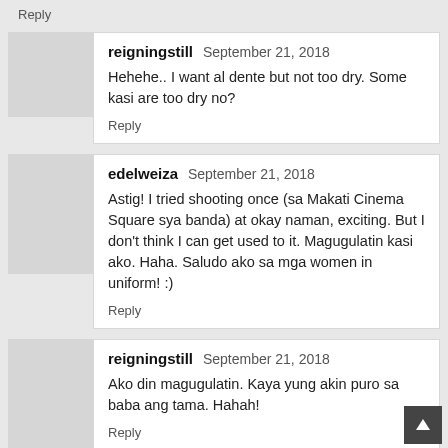Reply
reigningstill  September 21, 2018
Hehehe.. I want al dente but not too dry. Some kasi are too dry no?
Reply
edelweiza  September 21, 2018
Astig! I tried shooting once (sa Makati Cinema Square sya banda) at okay naman, exciting. But I don't think I can get used to it. Magugulatin kasi ako. Haha. Saludo ako sa mga women in uniform! :)
Reply
reigningstill  September 21, 2018
Ako din magugulatin. Kaya yung akin puro sa baba ang tama. Hahah!
Reply